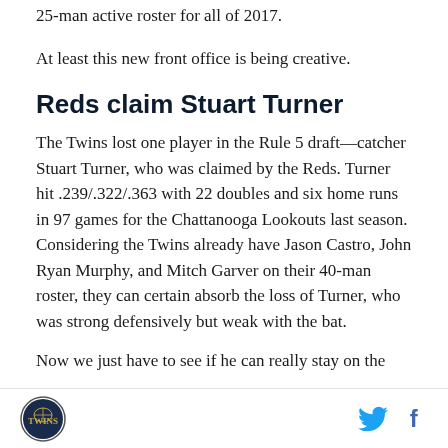25-man active roster for all of 2017.
At least this new front office is being creative.
Reds claim Stuart Turner
The Twins lost one player in the Rule 5 draft—catcher Stuart Turner, who was claimed by the Reds. Turner hit .239/.322/.363 with 22 doubles and six home runs in 97 games for the Chattanooga Lookouts last season. Considering the Twins already have Jason Castro, John Ryan Murphy, and Mitch Garver on their 40-man roster, they can certain absorb the loss of Turner, who was strong defensively but weak with the bat.
Now we just have to see if he can really stay on the
Logo and social media icons